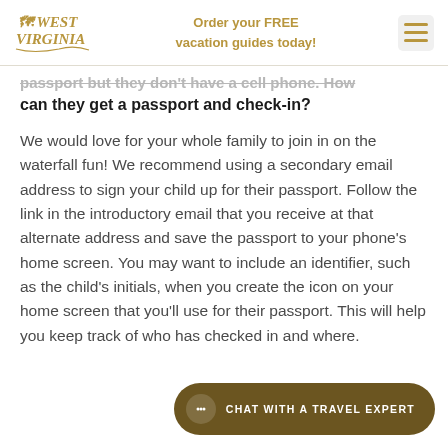West Virginia | Order your FREE vacation guides today!
passport but they don't have a cell phone. How can they get a passport and check-in?
We would love for your whole family to join in on the waterfall fun! We recommend using a secondary email address to sign your child up for their passport. Follow the link in the introductory email that you receive at that alternate address and save the passport to your phone's home screen. You may want to include an identifier, such as the child's initials, when you create the icon on your home screen that you'll use for their passport. This will help you keep track of who has checked in and where.